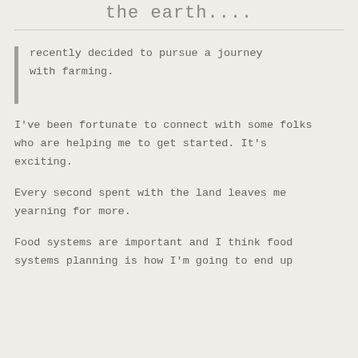the earth....
recently decided to pursue a journey with farming.
I've been fortunate to connect with some folks who are helping me to get started. It's exciting.
Every second spent with the land leaves me yearning for more.
Food systems are important and I think food systems planning is how I'm going to end up